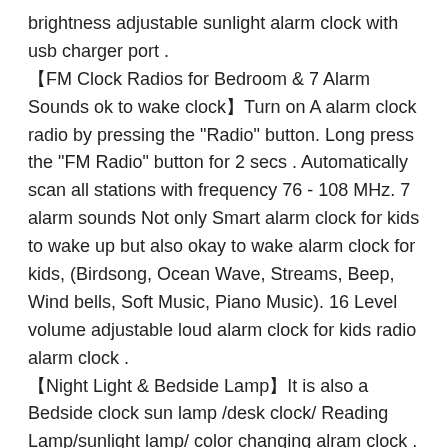brightness adjustable sunlight alarm clock with usb charger port .
【FM Clock Radios for Bedroom & 7 Alarm Sounds ok to wake clock】Turn on A alarm clock radio by pressing the "Radio" button. Long press the "FM Radio" button for 2 secs . Automatically scan all stations with frequency 76 - 108 MHz. 7 alarm sounds Not only Smart alarm clock for kids to wake up but also okay to wake alarm clock for kids, (Birdsong, Ocean Wave, Streams, Beep, Wind bells, Soft Music, Piano Music). 16 Level volume adjustable loud alarm clock for kids radio alarm clock .
【Night Light & Bedside Lamp】It is also a Bedside clock sun lamp /desk clock/ Reading Lamp/sunlight lamp/ color changing alram clock . when you press the ☀ button on the upper left to switch it on. Also